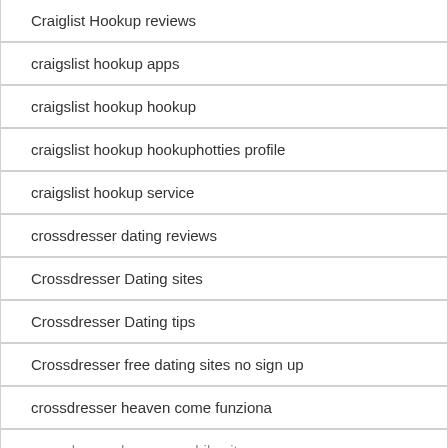Craiglist Hookup reviews
craigslist hookup apps
craigslist hookup hookup
craigslist hookup hookuphotties profile
craigslist hookup service
crossdresser dating reviews
Crossdresser Dating sites
Crossdresser Dating tips
Crossdresser free dating sites no sign up
crossdresser heaven come funziona
crossdresser heaven mobile site